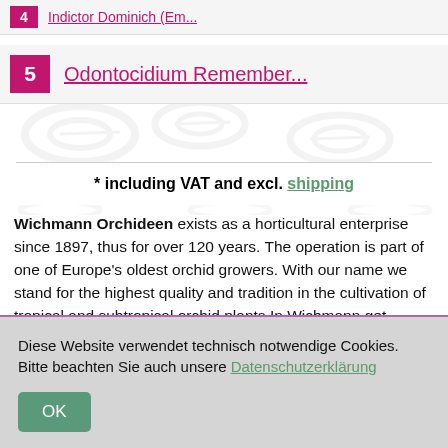4 Indictor Dominich (Em...
5 Odontocidium Remember...
* including VAT and excl. shipping
Wichmann Orchideen exists as a horticultural enterprise since 1897, thus for over 120 years. The operation is part of one of Europe's oldest orchid growers. With our name we stand for the highest quality and tradition in the cultivation of tropical and subtropical orchid plants.In Wichmann get orchids from our own production. This ensures the freshness and variety of our products.
Diese Website verwendet technisch notwendige Cookies. Bitte beachten Sie auch unsere Datenschutzerklärung